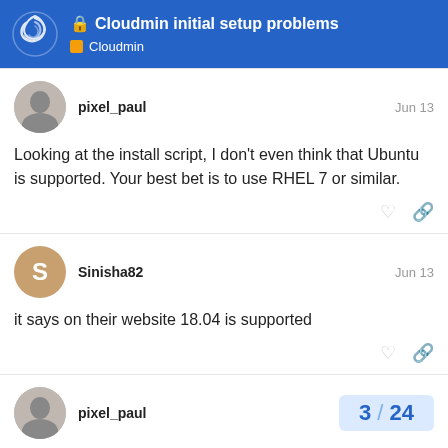Cloudmin initial setup problems — Cloudmin
pixel_paul — Jun 13
Looking at the install script, I don't even think that Ubuntu is supported. Your best bet is to use RHEL 7 or similar.
Sinisha82 — Jun 13
it says on their website 18.04 is supported
pixel_paul — 3 / 24